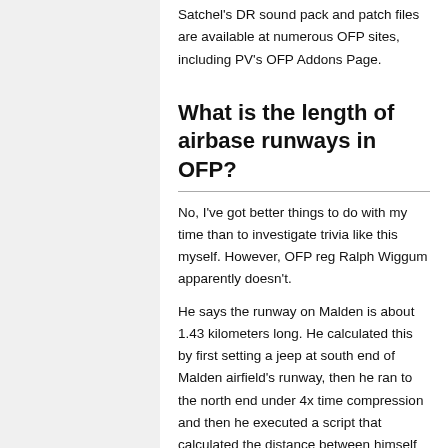Satchel's DR sound pack and patch files are available at numerous OFP sites, including PV's OFP Addons Page.
What is the length of airbase runways in OFP?
No, I've got better things to do with my time than to investigate trivia like this myself. However, OFP reg Ralph Wiggum apparently doesn't.
He says the runway on Malden is about 1.43 kilometers long. He calculated this by first setting a jeep at south end of Malden airfield's runway, then he ran to the north end under 4x time compression and then he executed a script that calculated the distance between himself and the jeep. Ralph's other findings